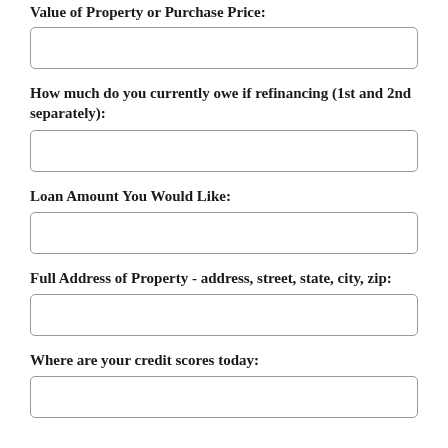Value of Property or Purchase Price:
[input field]
How much do you currently owe if refinancing (1st and 2nd separately):
[input field]
Loan Amount You Would Like:
[input field]
Full Address of Property - address, street, state, city, zip:
[input field]
Where are your credit scores today:
[input field]